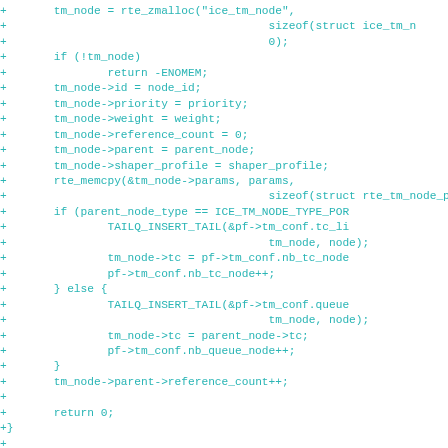Code diff showing C source code for ice_tm_node functions including memory allocation, node setup, and ice_tm_node_delete function signature